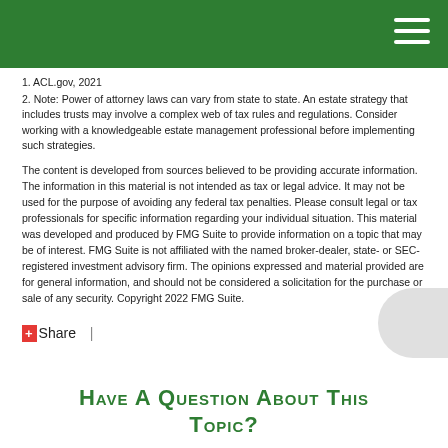1. ACL.gov, 2021
2. Note: Power of attorney laws can vary from state to state. An estate strategy that includes trusts may involve a complex web of tax rules and regulations. Consider working with a knowledgeable estate management professional before implementing such strategies.
The content is developed from sources believed to be providing accurate information. The information in this material is not intended as tax or legal advice. It may not be used for the purpose of avoiding any federal tax penalties. Please consult legal or tax professionals for specific information regarding your individual situation. This material was developed and produced by FMG Suite to provide information on a topic that may be of interest. FMG Suite is not affiliated with the named broker-dealer, state- or SEC-registered investment advisory firm. The opinions expressed and material provided are for general information, and should not be considered a solicitation for the purchase or sale of any security. Copyright 2022 FMG Suite.
Share |
Have A Question About This Topic?